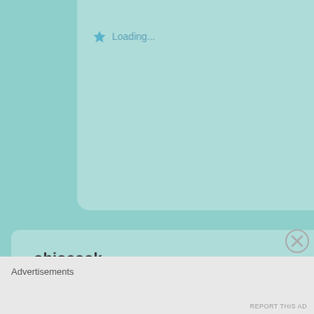Loading...
ohiocook
August 15, 2013 at 11:11 am
Reblogged this on My Meals are on Wheels.
Loading...
Advertisements